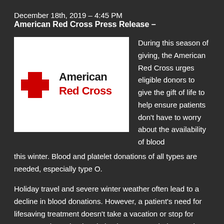December 18th, 2019 – 4:45 PM
American Red Cross Press Release –
[Figure (logo): American Red Cross logo with red cross symbol on white background and bold text 'American Red Cross']
During this season of giving, the American Red Cross urges eligible donors to give the gift of life to help ensure patients don't have to worry about the availability of blood this winter. Blood and platelet donations of all types are needed, especially type O.
Holiday travel and severe winter weather often lead to a decline in blood donations. However, a patient's need for lifesaving treatment doesn't take a vacation or stop for nasty weather. Blood and platelets are needed every day for those receiving treatment for cancer and leukemia, accident and burn victims and surgical